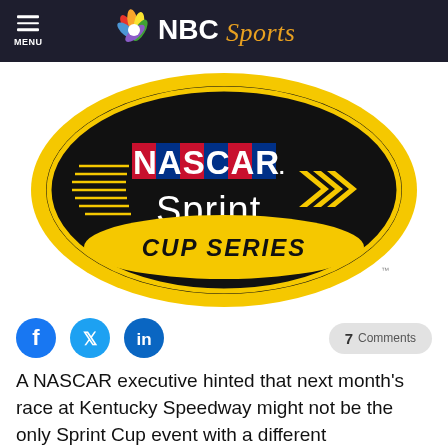NBC Sports
[Figure (logo): NASCAR Sprint Cup Series logo — black oval with yellow border, 'NASCAR' in multicolor letters, 'Sprint' in white, 'CUP SERIES' in yellow italic]
A NASCAR executive hinted that next month's race at Kentucky Speedway might not be the only Sprint Cup event with a different aerodynamic package this season.